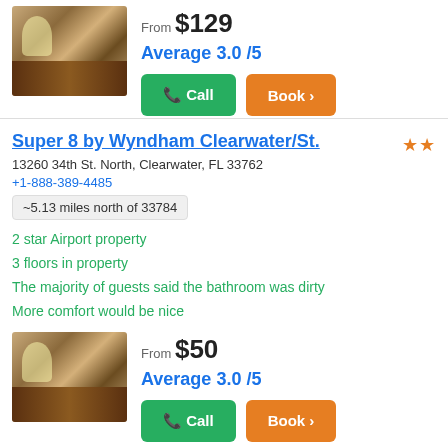[Figure (photo): Hotel room with two beds, warm lighting and wooden furniture]
From $129
Average 3.0 /5
Call | Book >
Super 8 by Wyndham Clearwater/St.
13260 34th St. North, Clearwater, FL 33762
+1-888-389-4485
~5.13 miles north of 33784
2 star Airport property
3 floors in property
The majority of guests said the bathroom was dirty
More comfort would be nice
[Figure (photo): Hotel room with two beds, warm lighting and wooden furniture]
From $50
Average 3.0 /5
Call | Book >